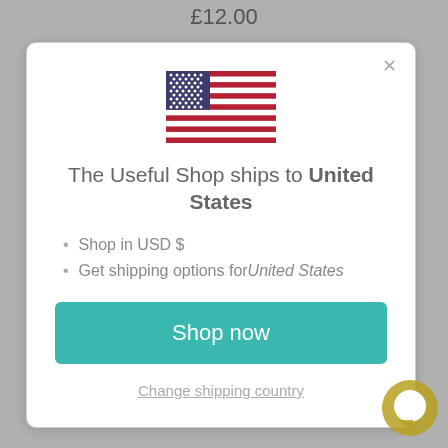£12.00
[Figure (screenshot): Modal dialog showing US flag, shipping information for United States, Shop now button, and Change shipping country link]
The Useful Shop ships to United States
Shop in USD $
Get shipping options for United States
Shop now
Change shipping country